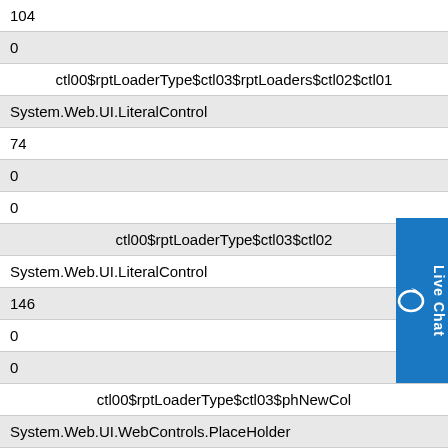| 104 |
| 0 |
| ctl00$rptLoaderType$ctl03$rptLoaders$ctl02$ctl01 |
| System.Web.UI.LiteralControl |
| 74 |
| 0 |
| 0 |
| ctl00$rptLoaderType$ctl03$ctl02 |
| System.Web.UI.LiteralControl |
| 146 |
| 0 |
| 0 |
| ctl00$rptLoaderType$ctl03$phNewCol |
| System.Web.UI.WebControls.PlaceHolder |
| 0 |
| 0 |